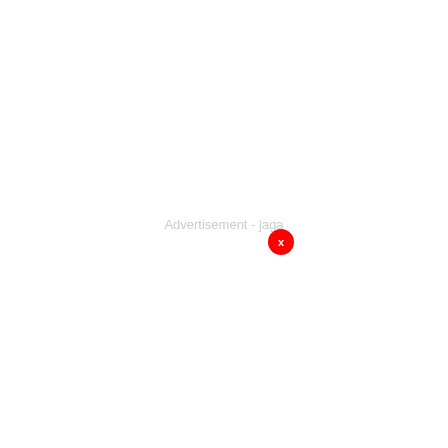Advertisement - jaga
[Figure (other): Red circular close button with white X]